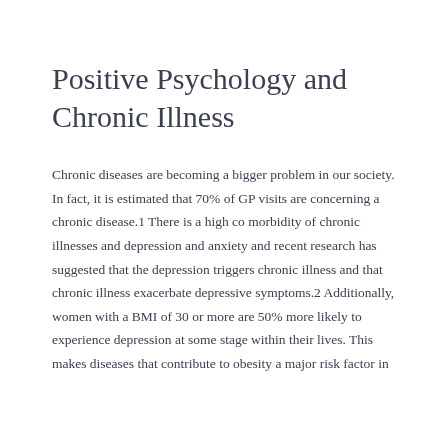Positive Psychology and Chronic Illness
Chronic diseases are becoming a bigger problem in our society. In fact, it is estimated that 70% of GP visits are concerning a chronic disease.1 There is a high co morbidity of chronic illnesses and depression and anxiety and recent research has suggested that the depression triggers chronic illness and that chronic illness exacerbate depressive symptoms.2 Additionally, women with a BMI of 30 or more are 50% more likely to experience depression at some stage within their lives. This makes diseases that contribute to obesity a major risk factor in...